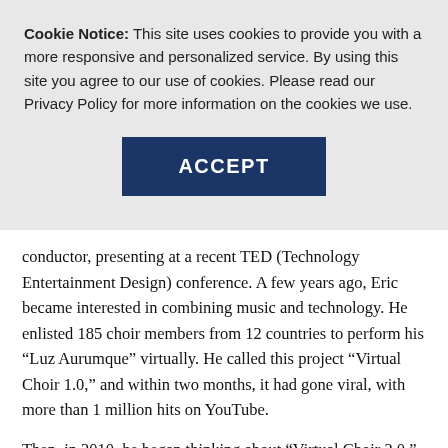Cookie Notice: This site uses cookies to provide you with a more responsive and personalized service. By using this site you agree to our use of cookies. Please read our Privacy Policy for more information on the cookies we use.
ACCEPT
conductor, presenting at a recent TED (Technology Entertainment Design) conference. A few years ago, Eric became interested in combining music and technology. He enlisted 185 choir members from 12 countries to perform his “Luz Aurumque” virtually. He called this project “Virtual Choir 1.0,” and within two months, it had gone viral, with more than 1 million hits on YouTube.
Then, in 2010, he began thinking about “Virtual Choir 2.0.” He sent out a call to singers—sopranos, altos, tenors, etc. —and offered a free instrumental download of his